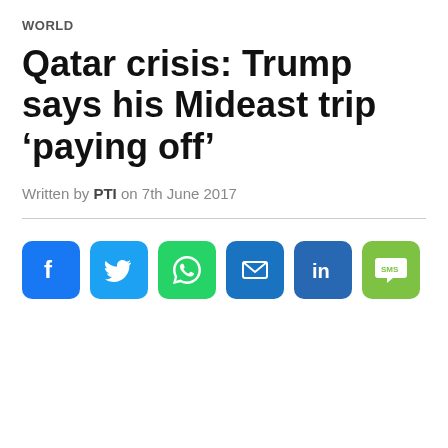WORLD
Qatar crisis: Trump says his Mideast trip ‘paying off’
Written by PTI on 7th June 2017
[Figure (infographic): Social media share icons: Facebook (blue), Twitter (light blue), WhatsApp (green), Email (blue), LinkedIn (dark blue), SMS (green)]